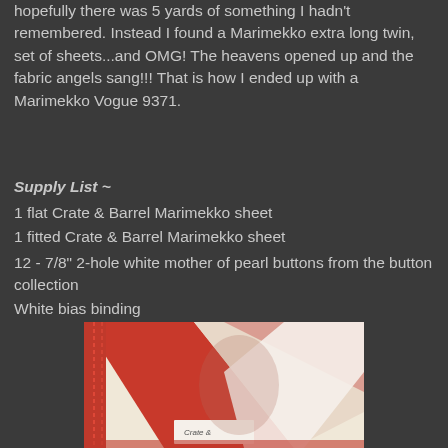hopefully there was 5 yards of something I hadn't remembered. Instead I found a Marimekko extra long twin, set of sheets...and OMG! The heavens opened up and the fabric angels sang!!!  That is how I ended up with a Marimekko Vogue 9371.
Supply List ~
1 flat Crate & Barrel Marimekko sheet
1 fitted Crate & Barrel Marimekko sheet
12 - 7/8" 2-hole white mother of pearl buttons from the button collection
White bias binding
[Figure (photo): Close-up photo of red and white Marimekko fabric sheets with a Crate & Barrel label visible at the bottom]